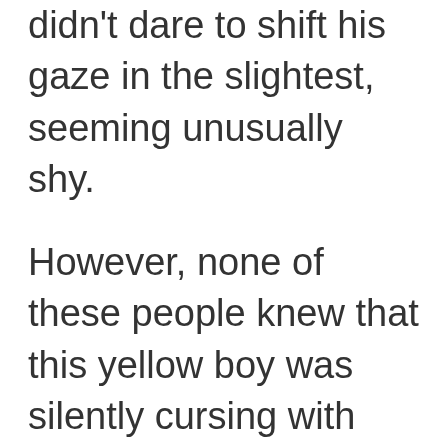didn't dare to shift his gaze in the slightest, seeming unusually shy.
However, none of these people knew that this yellow boy was silently cursing with resentment.
This youth who was different from the others was Han Li. The group of yellow-clothed individuals were the Yellow Maple Valley's disciples who were